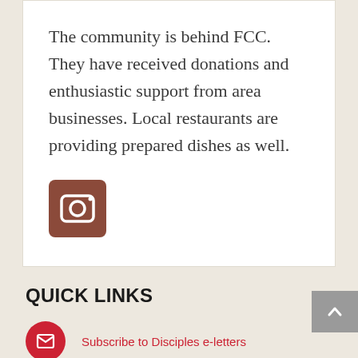The community is behind FCC. They have received donations and enthusiastic support from area businesses. Local restaurants are providing prepared dishes as well.
[Figure (logo): Instagram icon — brown/reddish square with rounded corners containing a white camera icon]
QUICK LINKS
Subscribe to Disciples e-letters
Disciples News Service Newsletter Archive
Justice